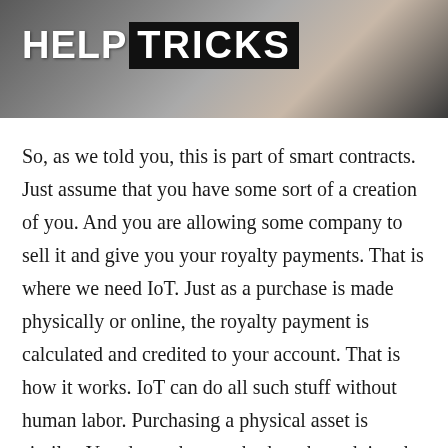[Figure (logo): Header image with dark/grey blurred background photo and HELPTRICKS logo — HELP in bold white text, TRICKS in white text on black rectangle]
So, as we told you, this is part of smart contracts. Just assume that you have some sort of a creation of you. And you are allowing some company to sell it and give you your royalty payments. That is where we need IoT. Just as a purchase is made physically or online, the royalty payment is calculated and credited to your account. That is how it works. IoT can do all such stuff without human labor. Purchasing a physical asset is similar. You do not have to bother about doing the payment. It happens automatically when you purchase it.